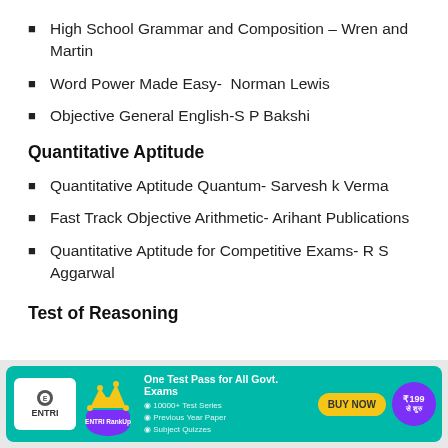High School Grammar and Composition – Wren and Martin
Word Power Made Easy-  Norman Lewis
Objective General English-S P Bakshi
Quantitative Aptitude
Quantitative Aptitude Quantum- Sarvesh k Verma
Fast Track Objective Arithmetic- Arihant Publications
Quantitative Aptitude for Competitive Exams- R S Aggarwal
Test of Reasoning
[Figure (infographic): ENTRI advertisement banner: One Test Pass for All Govt. Exams, 10000+ Test Series, Previous Year Paper, Subject Quizzes, BUY NOW, ₹199 से शुरु]